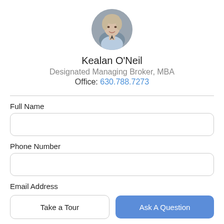[Figure (photo): Circular profile photo of a man in a light blue dress shirt, professional headshot, gray background.]
Kealan O'Neil
Designated Managing Broker, MBA
Office: 630.788.7273
Full Name
Phone Number
Email Address
Take a Tour
Ask A Question